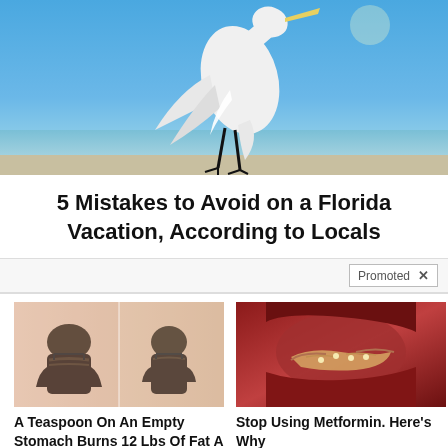[Figure (photo): White egret bird standing on dark legs against a blue sky and ocean background]
5 Mistakes to Avoid on a Florida Vacation, According to Locals
Promoted X
[Figure (photo): Before and after weight loss photo showing woman's back in black bra]
A Teaspoon On An Empty Stomach Burns 12 Lbs Of Fat A Week Safely!
7,666
[Figure (photo): Close-up medical image of internal organs]
Stop Using Metformin. Here's Why
182,433